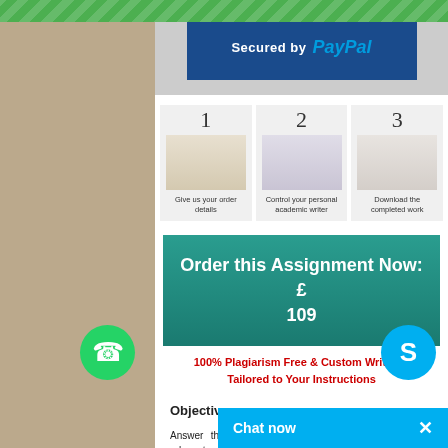[Figure (infographic): Three-step process showing: 1 Give us your order details, 2 Control your personal academic writer, 3 Download the completed work]
Order this Assignment Now: £ 109
100% Plagiarism Free & Custom Written - Tailored to Your Instructions
Objectives
Answer the following questions with reference to the relevant common law and equity operating in Australia concerning contracts plus